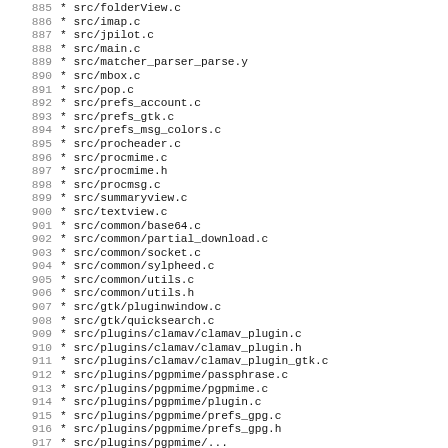885    * src/folderView.c
886    * src/imap.c
887    * src/jpilot.c
888    * src/main.c
889    * src/matcher_parser_parse.y
890    * src/mbox.c
891    * src/pop.c
892    * src/prefs_account.c
893    * src/prefs_gtk.c
894    * src/prefs_msg_colors.c
895    * src/procheader.c
896    * src/procmime.c
897    * src/procmime.h
898    * src/procmsg.c
899    * src/summaryview.c
900    * src/textview.c
901    * src/common/base64.c
902    * src/common/partial_download.c
903    * src/common/socket.c
904    * src/common/sylpheed.c
905    * src/common/utils.c
906    * src/common/utils.h
907    * src/gtk/pluginwindow.c
908    * src/gtk/quicksearch.c
909    * src/plugins/clamav/clamav_plugin.c
910    * src/plugins/clamav/clamav_plugin.h
911    * src/plugins/clamav/clamav_plugin_gtk.c
912    * src/plugins/pgpmime/passphrase.c
913    * src/plugins/pgpmime/pgpmime.c
914    * src/plugins/pgpmime/plugin.c
915    * src/plugins/pgpmime/prefs_gpg.c
916    * src/plugins/pgpmime/prefs_gpg.h
917    * src/plugins/pgpmime/...